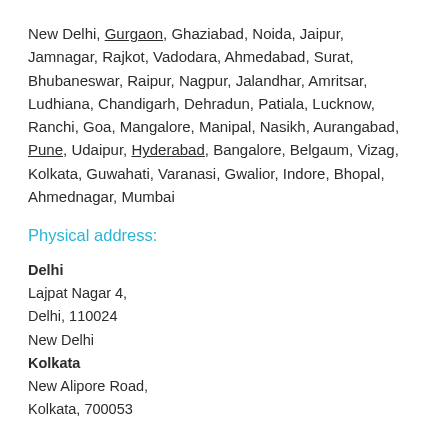New Delhi, Gurgaon, Ghaziabad, Noida, Jaipur, Jamnagar, Rajkot, Vadodara, Ahmedabad, Surat, Bhubaneswar, Raipur, Nagpur, Jalandhar, Amritsar, Ludhiana, Chandigarh, Dehradun, Patiala, Lucknow, Ranchi, Goa, Mangalore, Manipal, Nasikh, Aurangabad, Pune, Udaipur, Hyderabad, Bangalore, Belgaum, Vizag, Kolkata, Guwahati, Varanasi, Gwalior, Indore, Bhopal, Ahmednagar, Mumbai
Physical address:
Delhi
Lajpat Nagar 4,
Delhi, 110024
New Delhi
Kolkata
New Alipore Road,
Kolkata, 700053